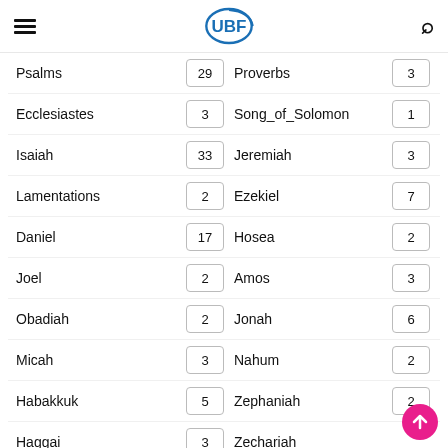UBF navigation header
| Book | Count | Book | Count |
| --- | --- | --- | --- |
| Psalms | 29 | Proverbs | 3 |
| Ecclesiastes | 3 | Song_of_Solomon | 1 |
| Isaiah | 33 | Jeremiah | 3 |
| Lamentations | 2 | Ezekiel | 7 |
| Daniel | 17 | Hosea | 2 |
| Joel | 2 | Amos | 3 |
| Obadiah | 2 | Jonah | 6 |
| Micah | 3 | Nahum | 2 |
| Habakkuk | 5 | Zephaniah | 2 |
| Haggai | 3 | Zechariah |  |